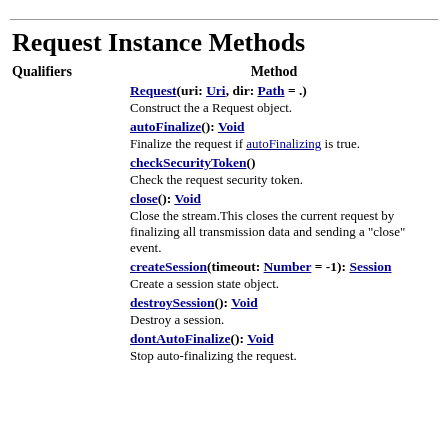Request Instance Methods
| Qualifiers | Method |
| --- | --- |
|  | Request(uri: Uri, dir: Path = .)
Construct the a Request object. |
|  | autoFinalize(): Void
Finalize the request if autoFinalizing is true. |
|  | checkSecurityToken()
Check the request security token. |
|  | close(): Void
Close the stream.This closes the current request by finalizing all transmission data and sending a "close" event. |
|  | createSession(timeout: Number = -1): Session
Create a session state object. |
|  | destroySession(): Void
Destroy a session. |
|  | dontAutoFinalize(): Void
Stop auto-finalizing the request. |